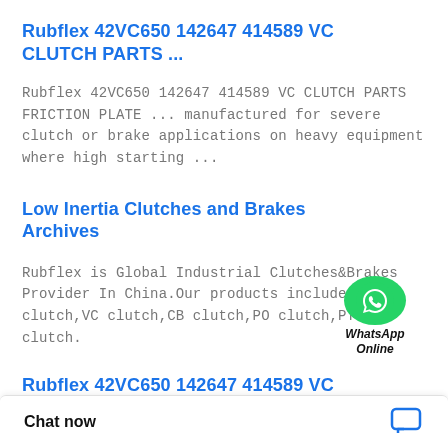Rubflex 42VC650 142647 414589 VC CLUTCH PARTS ...
Rubflex 42VC650 142647 414589 VC CLUTCH PARTS FRICTION PLATE ... manufactured for severe clutch or brake applications on heavy equipment where high starting ...
Low Inertia Clutches and Brakes Archives
Rubflex is Global Industrial Clutches&Brakes Provider In China.Our products include Disc clutch,VC clutch,CB clutch,PO clutch,PTO clutch.
[Figure (logo): WhatsApp Online badge with green circle phone icon and italic text 'WhatsApp Online']
Rubflex 42VC650 142647 414589 VC CLUTCH PARTS FRICTION ...
The VC element assembly is specifically designed and manufactured for severe clutch or brake applications on heavy equipment where
Chat now